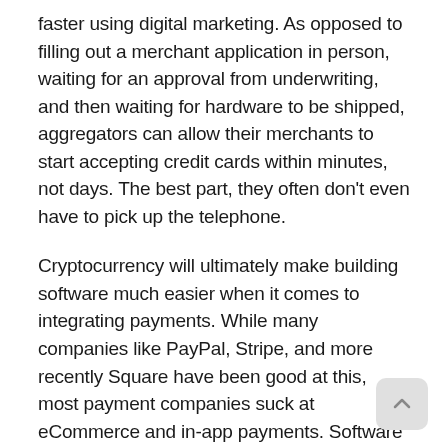faster using digital marketing. As opposed to filling out a merchant application in person, waiting for an approval from underwriting, and then waiting for hardware to be shipped, aggregators can allow their merchants to start accepting credit cards within minutes, not days. The best part, they often don't even have to pick up the telephone.
Cryptocurrency will ultimately make building software much easier when it comes to integrating payments. While many companies like PayPal, Stripe, and more recently Square have been good at this, most payment companies suck at eCommerce and in-app payments. Software is getting more affordable than ever and it seems like there's an app for just about everything.
As a payments rep or an independent sales organization (ISO), you should possess some sales